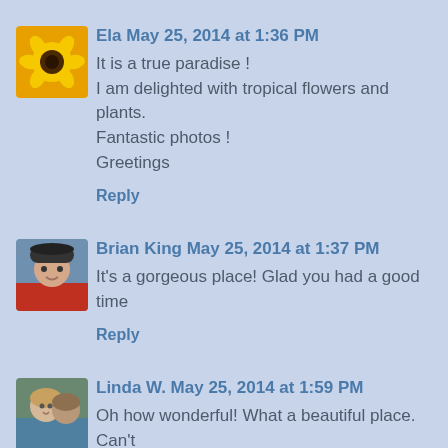Ela May 25, 2014 at 1:36 PM
It is a true paradise !
I am delighted with tropical flowers and plants.
Fantastic photos !
Greetings
Reply
Brian King May 25, 2014 at 1:37 PM
It's a gorgeous place! Glad you had a good time
Reply
Linda W. May 25, 2014 at 1:59 PM
Oh how wonderful! What a beautiful place. Can't
Reply